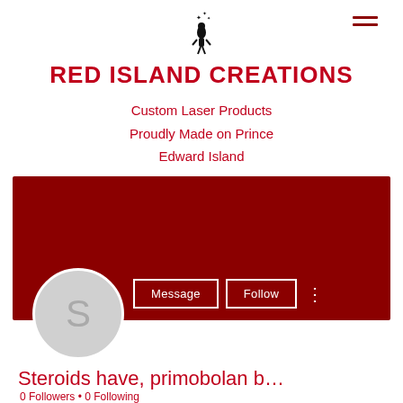[Figure (logo): Small black silhouette of a girl figure with butterflies floating above, used as a logo icon]
[Figure (other): Hamburger menu icon with three horizontal dark red lines in top right]
RED ISLAND CREATIONS
Custom Laser Products
Proudly Made on Prince
Edward Island
[Figure (screenshot): Dark red banner/cover photo area for a social media profile page]
[Figure (other): Grey circular profile avatar with letter S in the center]
Message   Follow
Steroids have, primobolan b…
0 Followers • 0 Following